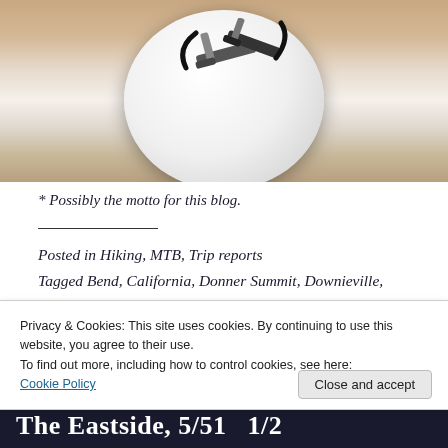[Figure (photo): A photograph showing metal clamps or clips sitting on a white plate, placed on a wooden surface. The image is cropped, showing the top portion of the plate and objects.]
* Possibly the motto for this blog.
Posted in Hiking, MTB, Trip reports
Tagged Bend, California, Donner Summit, Downieville,
Privacy & Cookies: This site uses cookies. By continuing to use this website, you agree to their use.
To find out more, including how to control cookies, see here:
Cookie Policy
The Eastside, 5/51  1/2